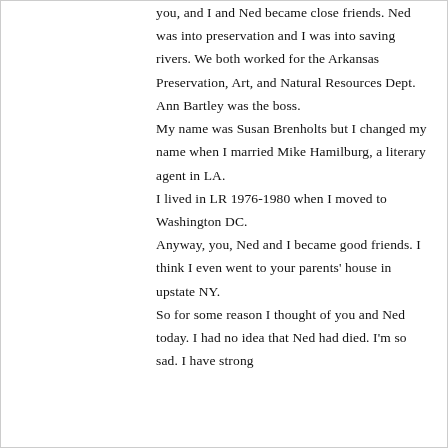you, and I and Ned became close friends. Ned was into preservation and I was into saving rivers. We both worked for the Arkansas Preservation, Art, and Natural Resources Dept. Ann Bartley was the boss. My name was Susan Brenholts but I changed my name when I married Mike Hamilburg, a literary agent in LA. I lived in LR 1976-1980 when I moved to Washington DC. Anyway, you, Ned and I became good friends. I think I even went to your parents' house in upstate NY. So for some reason I thought of you and Ned today. I had no idea that Ned had died. I'm so sad. I have strong